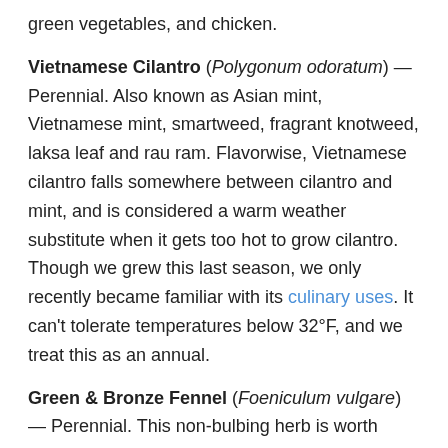green vegetables, and chicken.
Vietnamese Cilantro (Polygonum odoratum) — Perennial. Also known as Asian mint, Vietnamese mint, smartweed, fragrant knotweed, laksa leaf and rau ram. Flavorwise, Vietnamese cilantro falls somewhere between cilantro and mint, and is considered a warm weather substitute when it gets too hot to grow cilantro. Though we grew this last season, we only recently became familiar with its culinary uses. It can't tolerate temperatures below 32°F, and we treat this as an annual.
Green & Bronze Fennel (Foeniculum vulgare) — Perennial. This non-bulbing herb is worth growing in addition to Florence fennel, as the fronds have a more concentrated sweet flavor. It's sporadic as a perennial, and we've been replanting as necessary.